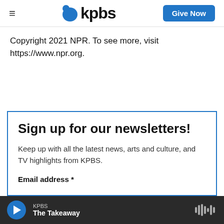≡ kpbs   Give Now
Copyright 2021 NPR. To see more, visit https://www.npr.org.
Sign up for our newsletters!
Keep up with all the latest news, arts and culture, and TV highlights from KPBS.
Email address *
KPBS  The Takeaway